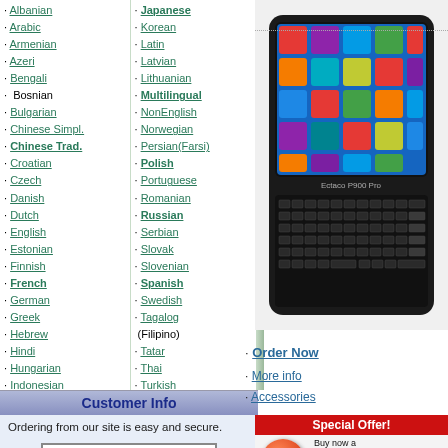Albanian, Arabic, Armenian, Azeri, Bengali, Bosnian, Bulgarian, Chinese Simpl., Chinese Trad., Croatian, Czech, Danish, Dutch, English, Estonian, Finnish, French, German, Greek, Hebrew, Hindi, Hungarian, Indonesian, Italian
Japanese, Korean, Latin, Latvian, Lithuanian, Multilingual, NonEnglish, Norwegian, Persian(Farsi), Polish, Portuguese, Romanian, Russian, Serbian, Slovak, Slovenian, Spanish, Swedish, Tagalog (Filipino), Tatar, Thai, Turkish, Ukrainian, Vietnamese, Yiddish
[Figure (photo): Electronic device (Ectaco P900 Pro) with touchscreen displaying colorful app icons and a physical keyboard, shown from a slight angle]
Order Now · More info · Accessories
Customer Info
Ordering from our site is easy and secure.
[Figure (logo): SSL Thawte secured site badge]
If you are unable to access the page
[Figure (infographic): Special Offer banner with NEW PRODUCT red circle badge and gift box icon, text: Buy now and get P900 Accessories (AUD 99 value) as a gift!]